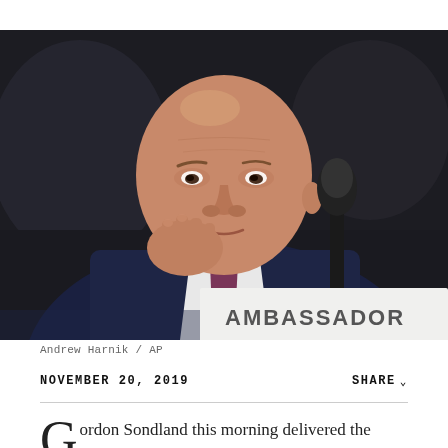[Figure (photo): Gordon Sondland seated at a hearing table, resting his chin/temple on his right hand, with a microphone and a partially visible nameplate reading 'AMBASSADOR' in the foreground. Background is dark/blurred. He is bald, wearing a dark suit and white shirt with a patterned tie.]
Andrew Harnik / AP
NOVEMBER 20, 2019
SHARE
Gordon Sondland this morning delivered the